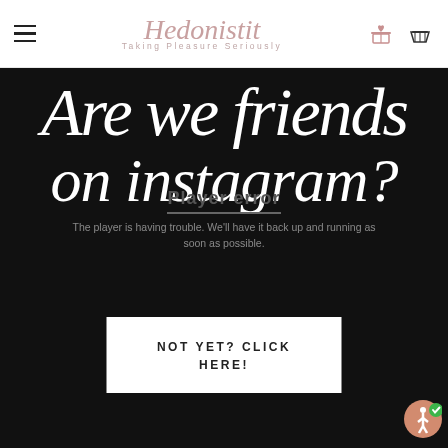[Figure (logo): Hedonistit website header with hamburger menu, cursive pink logo reading 'Hedonistit - Taking Pleasure Seriously', gift icon and basket icon]
[Figure (screenshot): Dark black background section with large white cursive/handwritten text reading 'Are we friends on instagram?' overlaid with a player error message box saying 'Player error - The player is having trouble. We'll have it back up and running as soon as possible.' and a white button 'NOT YET? CLICK HERE!']